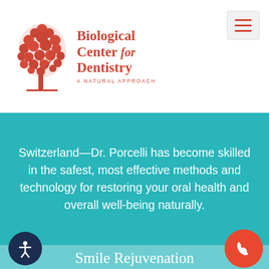[Figure (logo): Biological Center for Dentistry logo with red tree illustration and red text reading 'Biological Center for Dentistry - A Natural Approach']
Switzerland—Dr. Porcelli has become skilled in the safest, most effective methods and technology for restoring your oral health and overall well-being naturally.
Smile Rejuvenation
As a SMART-trained cosmetic restorative dentist certified by the International Academy of Oral Medicine and Toxicology, Dr. Porc... exceptionally qualified to bring back yo... beautiful smile using a variety of a...